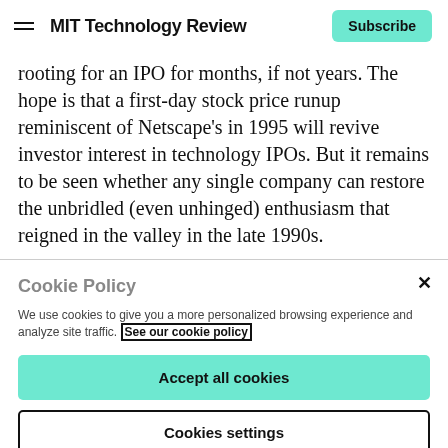MIT Technology Review | Subscribe
rooting for an IPO for months, if not years. The hope is that a first-day stock price runup reminiscent of Netscape's in 1995 will revive investor interest in technology IPOs. But it remains to be seen whether any single company can restore the unbridled (even unhinged) enthusiasm that reigned in the valley in the late 1990s.
Cookie Policy
We use cookies to give you a more personalized browsing experience and analyze site traffic. See our cookie policy
Accept all cookies
Cookies settings